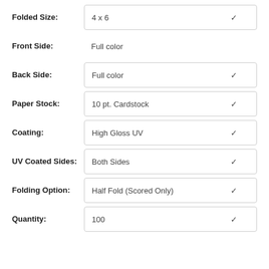Folded Size: 4 x 6
Front Side: Full color
Back Side: Full color
Paper Stock: 10 pt. Cardstock
Coating: High Gloss UV
UV Coated Sides: Both Sides
Folding Option: Half Fold (Scored Only)
Quantity: 100